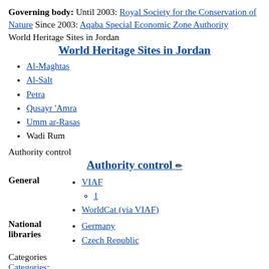Governing body: Until 2003: Royal Society for the Conservation of Nature Since 2003: Aqaba Special Economic Zone Authority
World Heritage Sites in Jordan
World Heritage Sites in Jordan
Al-Maghtas
Al-Salt
Petra
Qusayr 'Amra
Umm ar-Rasas
Wadi Rum
Authority control
Authority control
|  |  |
| --- | --- |
| General | VIAF
1
WorldCat (via VIAF) |
| National libraries | Germany
Czech Republic |
Categories
Categories:
Nature reserves in Jordan